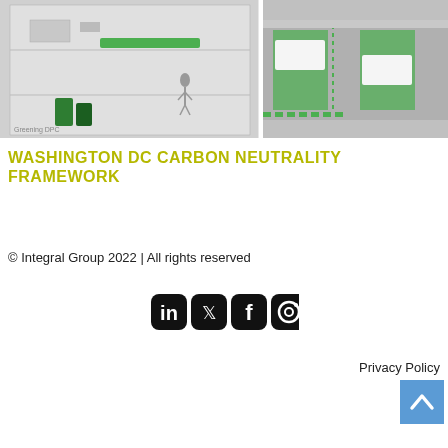[Figure (illustration): Two architectural/planning illustrations side by side: left shows a building cross-section with green energy elements highlighted; right shows a top-down view of a transit corridor with green bus lanes and dotted crosswalks. Watermark 'Greening DPC' visible on left image.]
WASHINGTON DC CARBON NEUTRALITY FRAMEWORK
© Integral Group 2022 | All rights reserved
[Figure (infographic): Four social media icons in black: LinkedIn, Twitter, Facebook, Instagram]
Privacy Policy
[Figure (other): Back to top button — blue square with white upward-pointing chevron arrow]